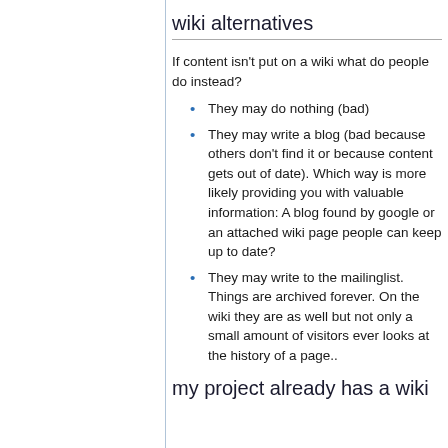wiki alternatives
If content isn't put on a wiki what do people do instead?
They may do nothing (bad)
They may write a blog (bad because others don't find it or because content gets out of date). Which way is more likely providing you with valuable information: A blog found by google or an attached wiki page people can keep up to date?
They may write to the mailinglist. Things are archived forever. On the wiki they are as well but not only a small amount of visitors ever looks at the history of a page..
my project already has a wiki